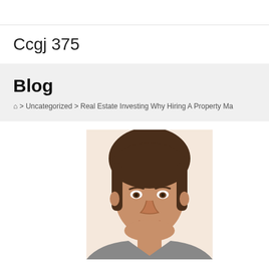Ccgj 375
Blog
🏠 > Uncategorized > Real Estate Investing Why Hiring A Property Ma
[Figure (photo): Headshot of a middle-aged man with dark brown hair, looking slightly to the left, cropped at the shoulders.]